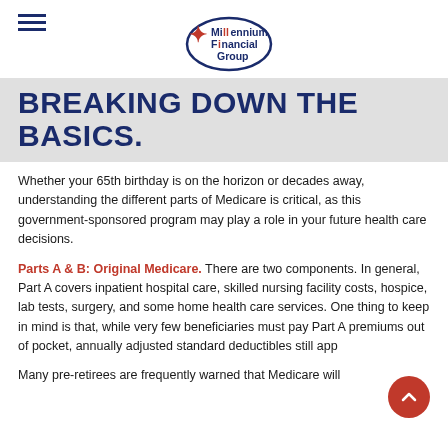Millennium Financial Group
BREAKING DOWN THE BASICS.
Whether your 65th birthday is on the horizon or decades away, understanding the different parts of Medicare is critical, as this government-sponsored program may play a role in your future health care decisions.
Parts A & B: Original Medicare. There are two components. In general, Part A covers inpatient hospital care, skilled nursing facility costs, hospice, lab tests, surgery, and some home health care services. One thing to keep in mind is that, while very few beneficiaries must pay Part A premiums out of pocket, annually adjusted standard deductibles still app
Many pre-retirees are frequently warned that Medicare will